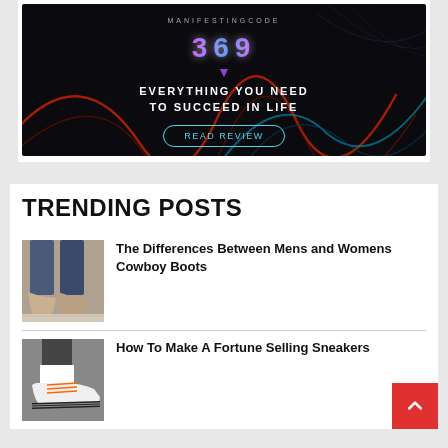[Figure (illustration): Dark banner advertisement with neon swirling lines (red and blue/teal), number '369' in center, text 'EVERYTHING YOU NEED TO SUCCEED IN LIFE', and a teal 'READ REVIEW' button]
TRENDING POSTS
[Figure (photo): Photo of cowboy boots on feet, jeans, wooden floor background]
The Differences Between Mens and Womens Cowboy Boots
[Figure (photo): Photo of white high-top sneakers with orange laces and black stripes at the bottom]
How To Make A Fortune Selling Sneakers